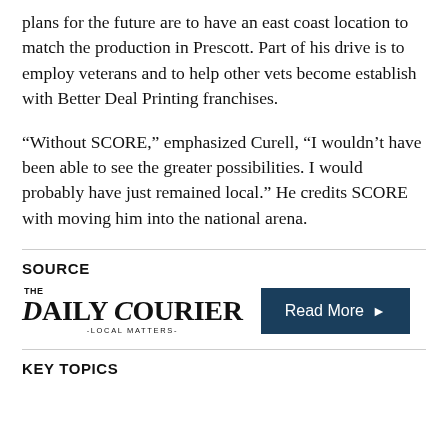plans for the future are to have an east coast location to match the production in Prescott. Part of his drive is to employ veterans and to help other vets become establish with Better Deal Printing franchises.
“Without SCORE,” emphasized Curell, “I wouldn’t have been able to see the greater possibilities. I would probably have just remained local.” He credits SCORE with moving him into the national arena.
SOURCE
[Figure (logo): The Daily Courier - Local Matters logo]
Read More ►
KEY TOPICS